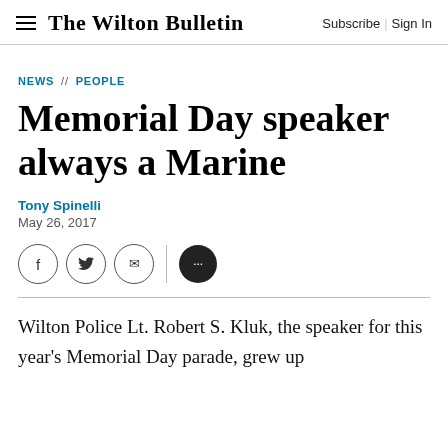The Wilton Bulletin | Subscribe | Sign In
NEWS // PEOPLE
Memorial Day speaker always a Marine
Tony Spinelli
May 26, 2017
Wilton Police Lt. Robert S. Kluk, the speaker for this year's Memorial Day parade, grew up
a time in the U.S. Marines, a clerk off-